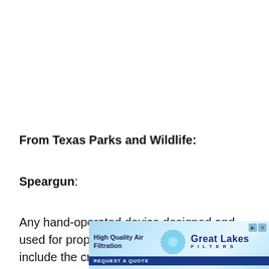From Texas Parks and Wildlife:
Speargun:
Any hand-operated device designed and used for propelling a spear, but does not include the crossbow. It may be used to
[Figure (other): Advertisement banner for Great Lakes Filters: High Quality Air Filtration. Blue background with circular logo and 'REQUEST A QUOTE' call to action.]